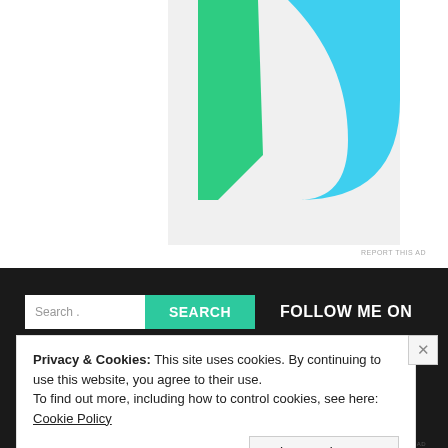[Figure (illustration): Abstract illustration with green angular shape on left and cyan/blue arc shape on right, on a light gray background]
REPORT THIS AD
[Figure (screenshot): Dark website footer area with search bar and 'FOLLOW ME ON' text]
Search .
SEARCH
FOLLOW ME ON
Privacy & Cookies: This site uses cookies. By continuing to use this website, you agree to their use.
To find out more, including how to control cookies, see here: Cookie Policy
Close and accept
REPORT THIS AD